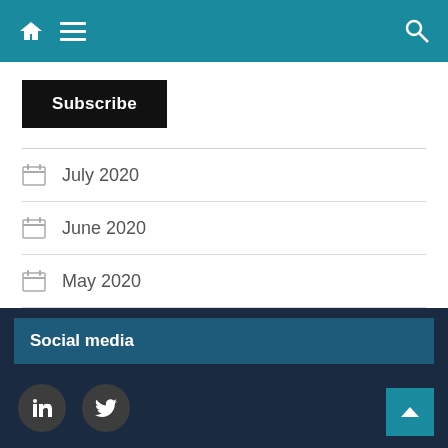Navigation bar with home, menu, and search icons
[Figure (screenshot): Subscribe button - black rounded rectangle with white bold text]
July 2020
June 2020
May 2020
Social media
[Figure (infographic): LinkedIn and Twitter circular social media icons in dark circles, and a teal back-to-top arrow button]